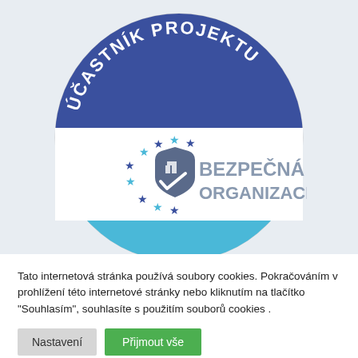[Figure (logo): Round badge/seal for 'Účastník Projektu – Bezpečná Organizace'. The top arc is dark blue with white bold text 'ÚČASTNÍK PROJEKTU'. The middle band is white with a shield+checkmark icon surrounded by blue stars on the left and bold grey text 'BEZPEČNÁ ORGANIZACE' on the right. The bottom arc is light blue with white text partially visible 'W... .EU'.]
Tato internetová stránka používá soubory cookies. Pokračováním v prohlížení této internetové stránky nebo kliknutím na tlačítko "Souhlasím", souhlasíte s použitím souborů cookies .
Nastavení
Přijmout vše